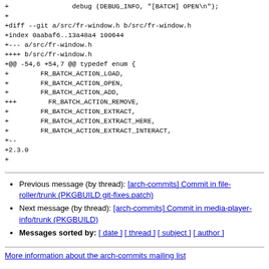+                debug (DEBUG_INFO, "[BATCH] OPEN\n");
+
+diff --git a/src/fr-window.h b/src/fr-window.h
+index 0aabaf6..13a48a4 100644
+--- a/src/fr-window.h
++++ b/src/fr-window.h
+@@ -54,6 +54,7 @@ typedef enum {
+        FR_BATCH_ACTION_LOAD,
+        FR_BATCH_ACTION_OPEN,
+        FR_BATCH_ACTION_ADD,
++        FR_BATCH_ACTION_REMOVE,
+        FR_BATCH_ACTION_EXTRACT,
+        FR_BATCH_ACTION_EXTRACT_HERE,
+        FR_BATCH_ACTION_EXTRACT_INTERACT,
+--
+2.3.0
+
Previous message (by thread): [arch-commits] Commit in file-roller/trunk (PKGBUILD git-fixes.patch)
Next message (by thread): [arch-commits] Commit in media-player-info/trunk (PKGBUILD)
Messages sorted by: [ date ] [ thread ] [ subject ] [ author ]
More information about the arch-commits mailing list